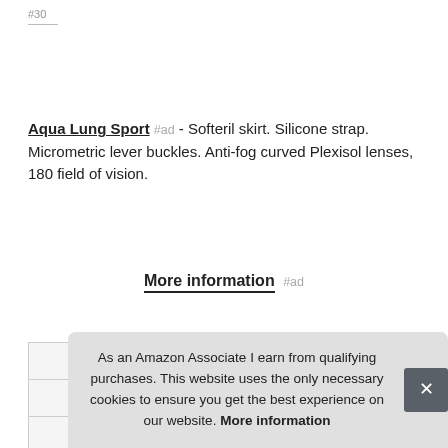#30
Aqua Lung Sport #ad - Softeril skirt. Silicone strap. Micrometric lever buckles. Anti-fog curved Plexisol lenses, 180 field of vision.
More information #ad
|  |  |
| --- | --- |
| Brand | Aqua Lung Sport #ad |
| Manufacturer | Aqua Lung Sport #ad |
|  |  |
As an Amazon Associate I earn from qualifying purchases. This website uses the only necessary cookies to ensure you get the best experience on our website. More information